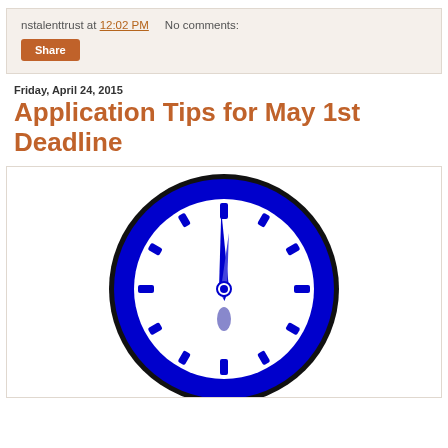nstalenttrust at 12:02 PM    No comments:
Share
Friday, April 24, 2015
Application Tips for May 1st Deadline
[Figure (illustration): A blue analog clock with dark blue hands pointing near 12 o'clock, showing tick marks for hours and minutes, white clock face, thick dark blue outer ring.]